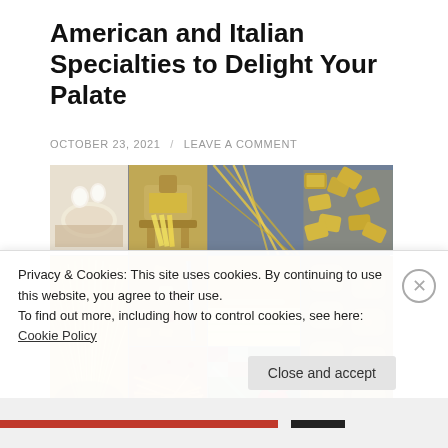American and Italian Specialties to Delight Your Palate
OCTOBER 23, 2021 / LEAVE A COMMENT
[Figure (photo): Photo collage of Italian pasta ingredients and varieties: flour and eggs, pasta machine, colored pasta strands, large pasta tubes, spaghetti nest, pasta sheets being rolled, ravioli shapes, egg pasta, vegetables with tomatoes, pasta flowers arrangement]
Privacy & Cookies: This site uses cookies. By continuing to use this website, you agree to their use.
To find out more, including how to control cookies, see here: Cookie Policy
Close and accept